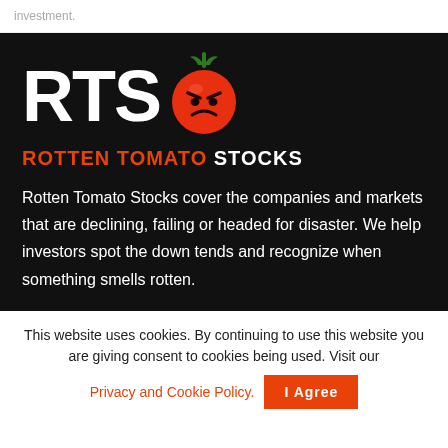investment.
[Figure (logo): Rotten Tomato Stocks logo: large white bold letters 'RTS' with an angry red tomato replacing the 'O', and the brand name 'ROTTEN TOMATO STOCKS' below in orange and white on a black background.]
Rotten Tomato Stocks cover the companies and markets that are declining, failing or headed for disaster. We help investors spot the down tends and recognize when something smells rotten.
This website uses cookies. By continuing to use this website you are giving consent to cookies being used. Visit our Privacy and Cookie Policy.
I Agree